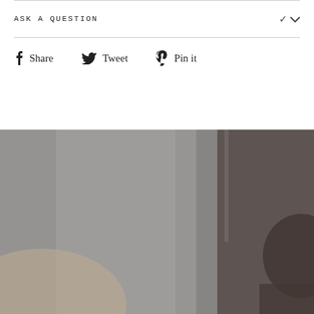ASK A QUESTION
Share   Tweet   Pin it
[Figure (photo): A blurred indoor photo showing a person on the right side with dark hair, against a grey curtain/wall background with a vertical pole or curtain rod visible.]